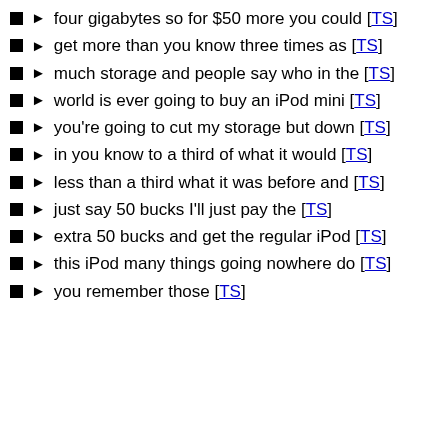four gigabytes so for $50 more you could [TS]
get more than you know three times as [TS]
much storage and people say who in the [TS]
world is ever going to buy an iPod mini [TS]
you're going to cut my storage but down [TS]
in you know to a third of what it would [TS]
less than a third what it was before and [TS]
just say 50 bucks I'll just pay the [TS]
extra 50 bucks and get the regular iPod [TS]
this iPod many things going nowhere do [TS]
you remember those [TS]